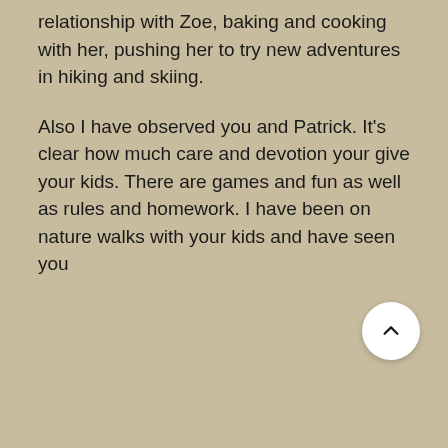relationship with Zoe, baking and cooking with her, pushing her to try new adventures in hiking and skiing.
Also I have observed you and Patrick. It's clear how much care and devotion your give your kids. There are games and fun as well as rules and homework. I have been on nature walks with your kids and have seen you
[Figure (other): A circular white scroll-to-top button with an upward-pointing chevron arrow, positioned in the lower right area of the page.]